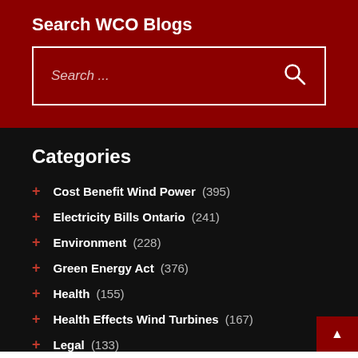Search WCO Blogs
Search ...
Categories
+ Cost Benefit Wind Power (395)
+ Electricity Bills Ontario (241)
+ Environment (228)
+ Green Energy Act (376)
+ Health (155)
+ Health Effects Wind Turbines (167)
+ Legal (133)